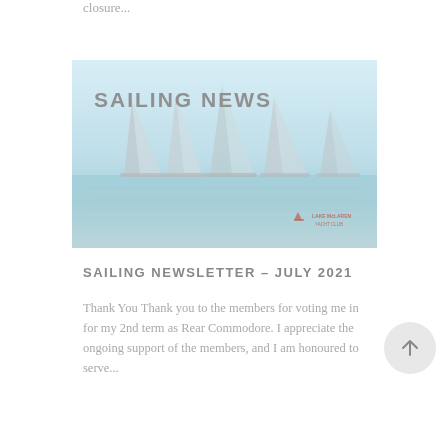closure...
[Figure (photo): Sailing News banner image showing multiple sailboats on water with text 'SAILING NEWS' overlaid, and a yacht club logo watermark in the bottom right corner.]
SAILING NEWSLETTER – JULY 2021
Thank You Thank you to the members for voting me in for my 2nd term as Rear Commodore.  I appreciate the ongoing support of the members, and I am honoured to serve...